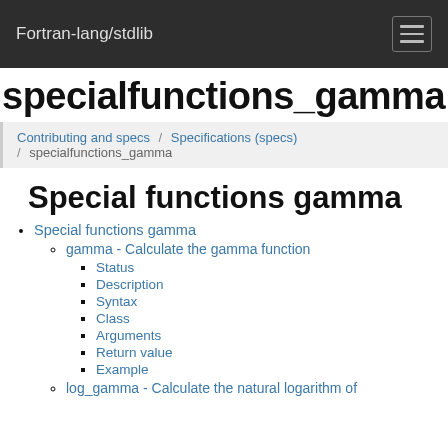Fortran-lang/stdlib
specialfunctions_gamma
Contributing and specs / Specifications (specs) / specialfunctions_gamma
Special functions gamma
Special functions gamma
gamma - Calculate the gamma function
Status
Description
Syntax
Class
Arguments
Return value
Example
log_gamma - Calculate the natural logarithm of